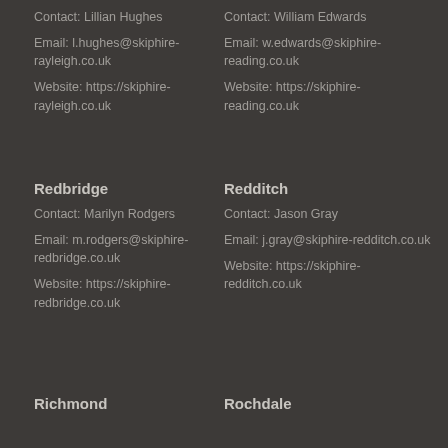Contact: Lillian Hughes
Email: l.hughes@skiphire-rayleigh.co.uk
Website: https://skiphire-rayleigh.co.uk
Contact: William Edwards
Email: w.edwards@skiphire-reading.co.uk
Website: https://skiphire-reading.co.uk
Redbridge
Contact: Marilyn Rodgers
Email: m.rodgers@skiphire-redbridge.co.uk
Website: https://skiphire-redbridge.co.uk
Redditch
Contact: Jason Gray
Email: j.gray@skiphire-redditch.co.uk
Website: https://skiphire-redditch.co.uk
Richmond
Rochdale